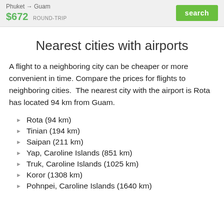Phuket → Guam   $672 ROUND-TRIP   search
Nearest cities with airports
A flight to a neighboring city can be cheaper or more convenient in time. Compare the prices for flights to neighboring cities.  The nearest city with the airport is Rota has located 94 km from Guam.
Rota (94 km)
Tinian (194 km)
Saipan (211 km)
Yap, Caroline Islands (851 km)
Truk, Caroline Islands (1025 km)
Koror (1308 km)
Pohnpei, Caroline Islands (1640 km)